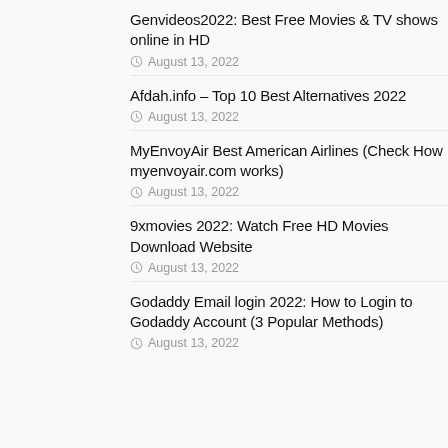Genvideos2022: Best Free Movies & TV shows online in HD
August 13, 2022
Afdah.info – Top 10 Best Alternatives 2022
August 13, 2022
MyEnvoyAir Best American Airlines (Check How myenvoyair.com works)
August 13, 2022
9xmovies 2022: Watch Free HD Movies Download Website
August 13, 2022
Godaddy Email login 2022: How to Login to Godaddy Account (3 Popular Methods)
August 13, 2022